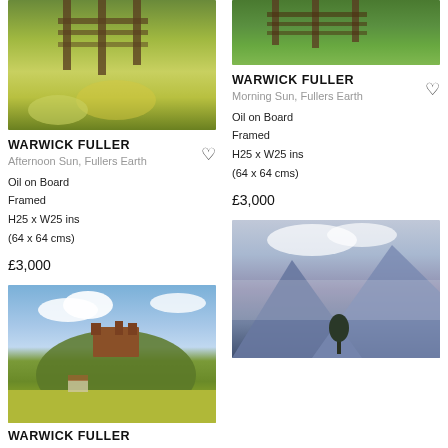[Figure (photo): Painting of afternoon sun through yellow flowers and wooden fence, Fullers Earth]
WARWICK FULLER
Afternoon Sun, Fullers Earth
Oil on Board
Framed
H25 x W25 ins
(64 x 64 cms)
£3,000
[Figure (photo): Painting of morning sun through green grassy area with wooden fence, Fullers Earth]
WARWICK FULLER
Morning Sun, Fullers Earth
Oil on Board
Framed
H25 x W25 ins
(64 x 64 cms)
£3,000
[Figure (photo): Painting of a castle on a hill with trees and yellow meadow below, blue cloudy sky]
WARWICK FULLER
[Figure (photo): Painting of misty mountain scene with lone tree, moody atmospheric landscape]